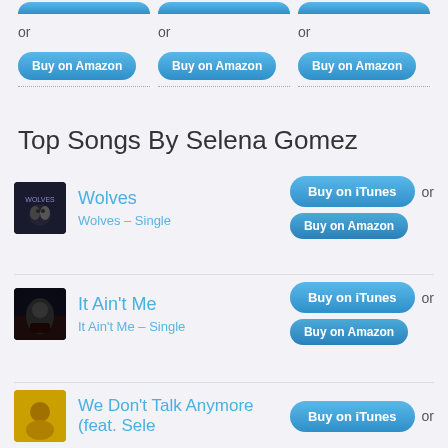[Figure (screenshot): Top section with 'or' text and three 'Buy on Amazon' buttons with dotted underlines, partially cropped at top]
Top Songs By Selena Gomez
[Figure (infographic): Song entry: Wolves album art thumbnail, song title 'Wolves', album 'Wolves – Single', Buy on iTunes button, or, Buy on Amazon button]
[Figure (infographic): Song entry: It Ain't Me album art thumbnail, song title "It Ain't Me", album "It Ain't Me – Single", Buy on iTunes button, or, Buy on Amazon button]
[Figure (infographic): Song entry: We Don't Talk Anymore album art thumbnail (partially visible), song title "We Don't Talk Anymore (feat. Sele", Buy on iTunes button, or (partially visible)]